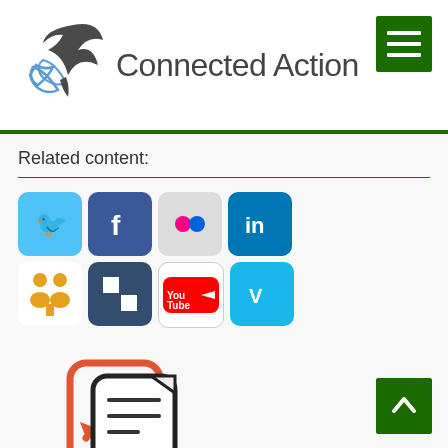[Figure (logo): Connected Action logo with stylized bird/pen graphic and text 'Connected Action']
[Figure (logo): Green hamburger menu button in top right corner]
Related content:
[Figure (infographic): Row of social media icons: Twitter, Facebook, Flickr, LinkedIn, and a second row with a person/community icon, Delicious, YouTube, Vimeo]
[Figure (illustration): Icon showing two overlapping document/page shapes with arrows, styled in coral/teal outline]
Social Media Research Foundation
[Figure (other): Green scroll-to-top button with upward caret arrow in bottom right corner]